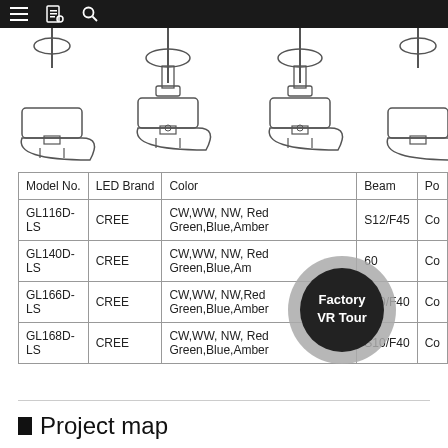[Figure (illustration): Technical line drawings of four pendant/hanging LED luminaire models showing different mounting styles and configurations]
| Model No. | LED Brand | Color | Beam | Po |
| --- | --- | --- | --- | --- |
| GL116D-LS | CREE | CW,WW, NW, Red Green,Blue,Amber | S12/F45 | Co |
| GL140D-LS | CREE | CW,WW, NW, Red Green,Blue,Am | 60 | Co |
| GL166D-LS | CREE | CW,WW, NW,Red Green,Blue,Amber | S10/F40 | Co |
| GL168D-LS | CREE | CW,WW, NW, Red Green,Blue,Amber | S10/F40 | Co |
[Figure (infographic): Factory VR Tour circular badge overlay on the table]
Project map